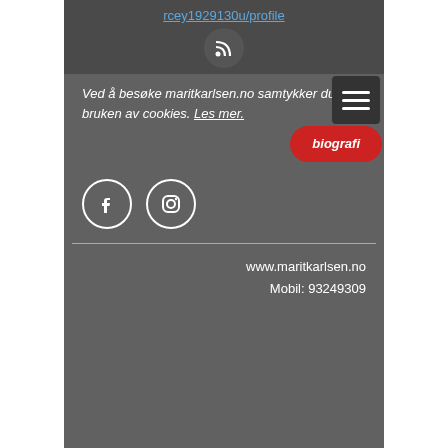rcey1929130u/profile
[Figure (illustration): RSS feed icon inside a dark circle]
Ved å besøke maritkarlsen.no samtykker du i bruken av cookies. Les mer.
[Figure (illustration): Hamburger menu button (three horizontal lines) in dark square with rounded corners]
[Figure (illustration): Red oval button labeled 'biografi']
[Figure (illustration): Facebook icon circle and Instagram icon circle]
www.maritkarlsen.no
Mobil: 93249309